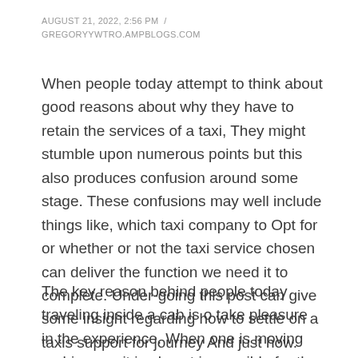AUGUST 21, 2022, 2:56 PM  /  GREGORYYWTRO.AMPBLOGS.COM
When people today attempt to think about good reasons about why they have to retain the services of a taxi, They might stumble upon numerous points but this also produces confusion around some stage. These confusions may well include things like, which taxi company to Opt for or whether or not the taxi service chosen can deliver the function we need it to complete. Under-going this post can give some insight regarding how to settle on a taxis support for journey And just how.
The key reason behind people today traveling inside a cab is o take pleasure in the experience. When one is moving on his own, it is almost impossible for the person